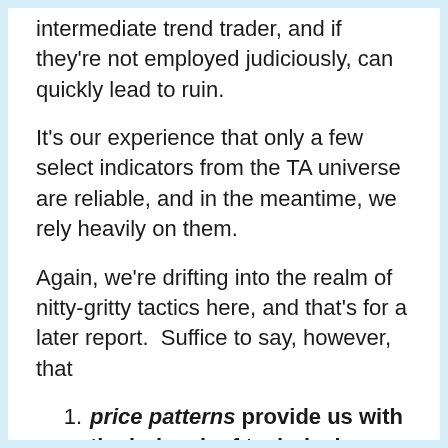intermediate trend trader, and if they're not employed judiciously, can quickly lead to ruin.
It's our experience that only a few select indicators from the TA universe are reliable, and in the meantime, we rely heavily on them.
Again, we're drifting into the realm of nitty-gritty tactics here, and that's for a later report.  Suffice to say, however, that
price patterns provide us with the bulwark of technical evidence that we deem trustworthy